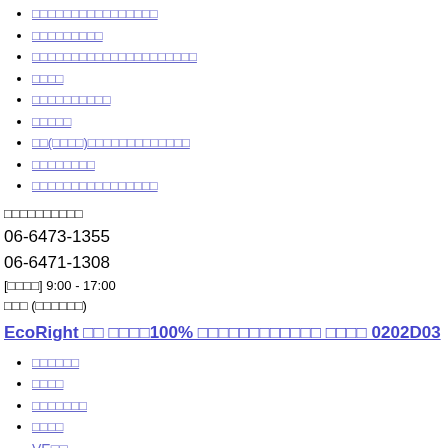□□□□□□□□□□□□□□□□
□□□□□□□□□
□□□□□□□□□□□□□□□□□□□□□
□□□□
□□□□□□□□□□
□□□□□
□□(□□□□)□□□□□□□□□□□□□
□□□□□□□□
□□□□□□□□□□□□□□□□
□□□□□□□□□□
06-6473-1355
06-6471-1308
[□□□□] 9:00 - 17:00
□□□ (□□□□□□)
EcoRight □□ □□□□100% □□□□□□□□□□□□ □□□□ 0202D03
□□□□□□
□□□□
□□□□□□□
□□□□
VE□□
□□□□□□□□□□□□□□□□□□□□□□□□□□DC12V□□□□□□□